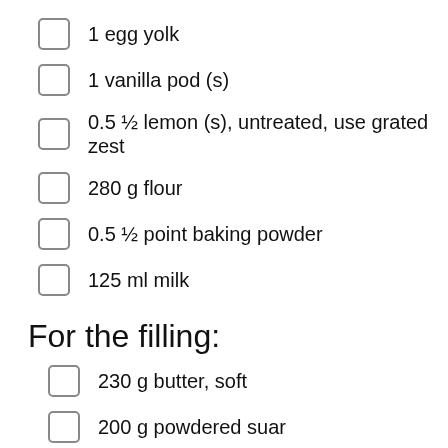1 egg yolk
1 vanilla pod (s)
0.5 ½ lemon (s), untreated, use grated zest
280 g flour
0.5 ½ point baking powder
125 ml milk
For the filling:
230 g butter, soft
200 g powdered suar
600 g chocolate, white
0.5 ½ lemon (s), juice it